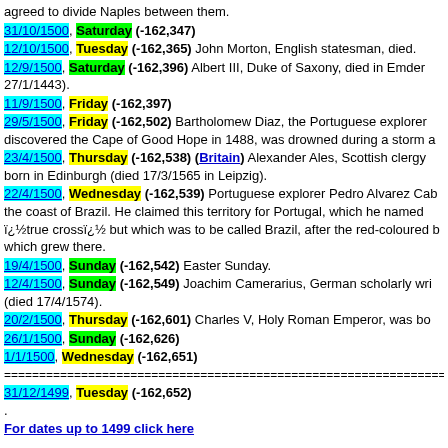agreed to divide Naples between them.
31/10/1500, Saturday (-162,347)
12/10/1500, Tuesday (-162,365) John Morton, English statesman, died.
12/9/1500, Saturday (-162,396) Albert III, Duke of Saxony, died in Emder 27/1/1443).
11/9/1500, Friday (-162,397)
29/5/1500, Friday (-162,502) Bartholomew Diaz, the Portuguese explorer discovered the Cape of Good Hope in 1488, was drowned during a storm a
23/4/1500, Thursday (-162,538) (Britain) Alexander Ales, Scottish clergy born in Edinburgh (died 17/3/1565 in Leipzig).
22/4/1500, Wednesday (-162,539) Portuguese explorer Pedro Alvarez Cab the coast of Brazil. He claimed this territory for Portugal, which he named ï¿½true crossï¿½ but which was to be called Brazil, after the red-coloured b which grew there.
19/4/1500, Sunday (-162,542) Easter Sunday.
12/4/1500, Sunday (-162,549) Joachim Camerarius, German scholarly wri (died 17/4/1574).
20/2/1500, Thursday (-162,601) Charles V, Holy Roman Emperor, was bo
26/1/1500, Sunday (-162,626)
1/1/1500, Wednesday (-162,651)
================================================================
31/12/1499, Tuesday (-162,652)
.
For dates up to 1499 click here
Back to top